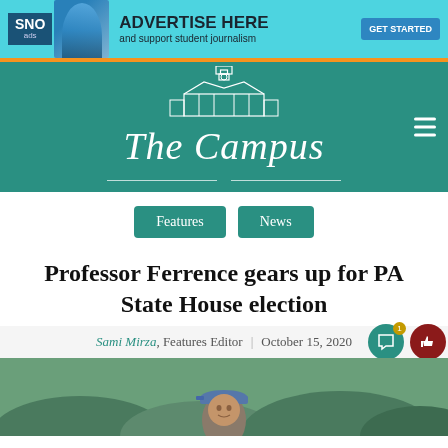[Figure (other): SNO ads advertisement banner — 'ADVERTISE HERE and support student journalism' with GET STARTED button and photo of student]
[Figure (logo): The Campus newspaper masthead with teal background, white building/tower illustration, and italic serif logotype 'The Campus']
Features   News
Professor Ferrence gears up for PA State House election
Sami Mirza, Features Editor | October 15, 2020
[Figure (photo): Photo of a person wearing a blue cap, outdoors with greenery in the background]